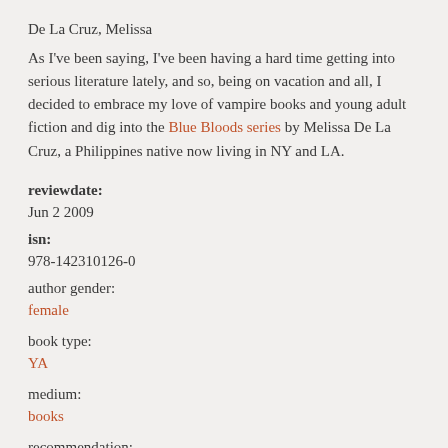De La Cruz, Melissa
As I've been saying, I've been having a hard time getting into serious literature lately, and so, being on vacation and all, I decided to embrace my love of vampire books and young adult fiction and dig into the Blue Bloods series by Melissa De La Cruz, a Philippines native now living in NY and LA.
reviewdate:
Jun 2 2009
isn:
978-142310126-0
author gender:
female
book type:
YA
medium:
books
recommendation:
recommended